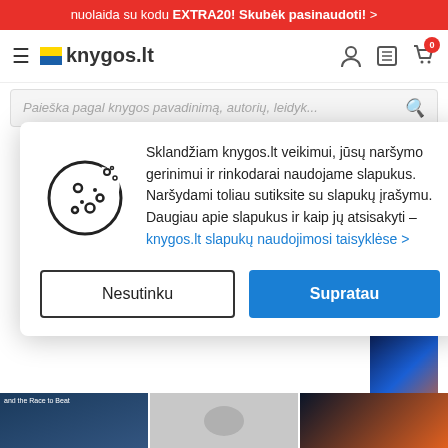nuolaida su kodu EXTRA20! Skubėk pasinaudoti! >
[Figure (logo): knygos.lt logo with yellow-blue flag icon]
Paieška pagal knygos pavadinimą, autorių, leidyk...
Sklandžiam knygos.lt veikimui, jūsų naršymo gerinimui ir rinkodarai naudojame slapukus. Naršydami toliau sutiksite su slapukų įrašymu. Daugiau apie slapukus ir kaip jų atsisakyti – knygos.lt slapukų naudojimosi taisyklėse >
Nesutinku
Supratau